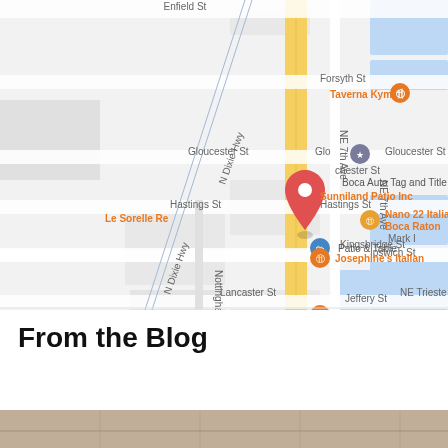[Figure (map): Google Maps screenshot showing a section of Boca Raton, FL near N Dixie Hwy. Visible restaurants and businesses include Taverna Kyma, Sunniland Patio Inc, Boca Auto Tag and Title, Le Sorelle Restaurant, Nano Italia Boca Raton, Patio & Table, Dorsia, and Josephine's Italian. Streets visible include Enfield St, Forsyth St, Gloucester St, Hastings St, Ipswich St, Jeffery St, Kingsbridge St, Lancaster St, NE Trieste Ln, N Dixie Hwy, Nottingham, NE 7th Ave, and Mark (partial).]
From the Blog
[Figure (photo): Partial bottom strip of a photo, appears to show an outdoor or architectural scene in muted brown/tan tones.]